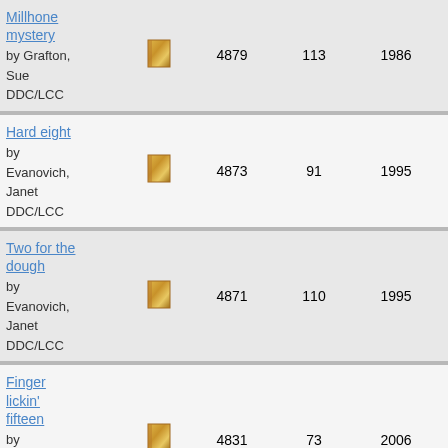Millhone mystery by Grafton, Sue DDC/LCC — 4879 113 1986 2012
Hard eight by Evanovich, Janet DDC/LCC — 4873 91 1995 2014
Two for the dough by Evanovich, Janet DDC/LCC — 4871 110 1995 2014
Finger lickin' fifteen by Evanovich, Janet DDC/LCC — 4831 73 2006 2016